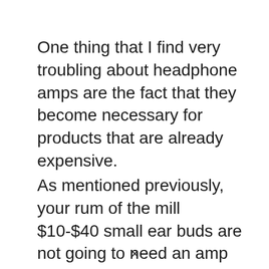One thing that I find very troubling about headphone amps are the fact that they become necessary for products that are already expensive.
As mentioned previously, your rum of the mill $10-$40 small ear buds are not going to need an amp for the most part.